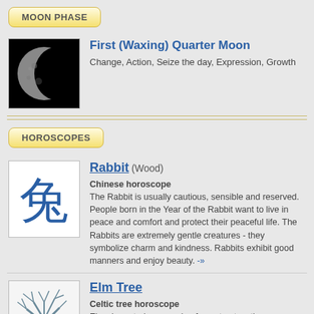MOON PHASE
[Figure (photo): Crescent moon photo showing first quarter waxing phase against black background]
First (Waxing) Quarter Moon
Change, Action, Seize the day, Expression, Growth
HOROSCOPES
[Figure (illustration): Chinese character for Rabbit (兔) in blue ink style on white background]
Rabbit (Wood)
Chinese horoscope
The Rabbit is usually cautious, sensible and reserved. People born in the Year of the Rabbit want to live in peace and comfort and protect their peaceful life. The Rabbits are extremely gentle creatures - they symbolize charm and kindness. Rabbits exhibit good manners and enjoy beauty. -»
[Figure (illustration): Bare elm tree illustration in blue/grey tones on white background]
Elm Tree
Celtic tree horoscope
Elm characterises people of very trustworthy appearance and calm manners. Calmness, mental well-